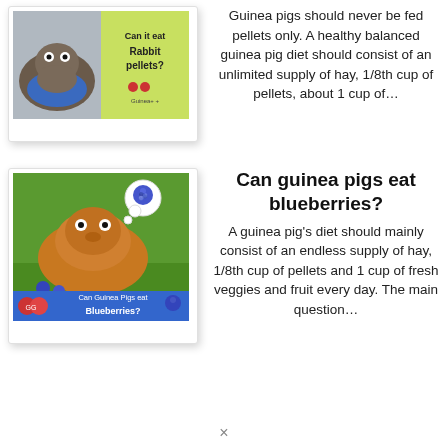[Figure (photo): Thumbnail image of guinea pig with text 'Can it eat Rabbit pellets?' on green background, shown in a card with drop shadow]
Guinea pigs should never be fed pellets only. A healthy balanced guinea pig diet should consist of an unlimited supply of hay, 1/8th cup of pellets, about 1 cup of…
[Figure (photo): Thumbnail image of guinea pig looking at blueberries with text 'Can Guinea Pigs eat Blueberries?' on blue banner, shown in a card with drop shadow]
Can guinea pigs eat blueberries?
A guinea pig's diet should mainly consist of an endless supply of hay, 1/8th cup of pellets and 1 cup of fresh veggies and fruit every day. The main question…